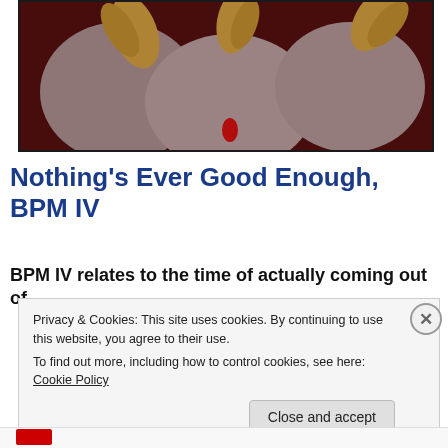[Figure (photo): A dark reddish-brown background with sculptural or ceramic figures resembling rounded forms with golden/amber wing-like protrusions and a small red element at the bottom center.]
Nothing's Ever Good Enough, BPM IV
BPM IV relates to the time of actually coming out of
Privacy & Cookies: This site uses cookies. By continuing to use this website, you agree to their use.
To find out more, including how to control cookies, see here: Cookie Policy
Close and accept